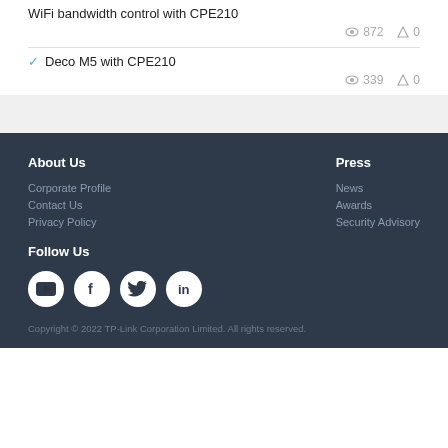WiFi bandwidth control with CPE210
872  0
✓ Deco M5 with CPE210
339  0
About Us
Corporate Profile
Contact Us
Privacy Policy
Press
News
Awards
Security Advisory
Follow Us
[Figure (illustration): Social media icons: YouTube, Facebook, Twitter, LinkedIn]
Copyright © 2022 TP-Link Corporation Limited. All rights reserved.